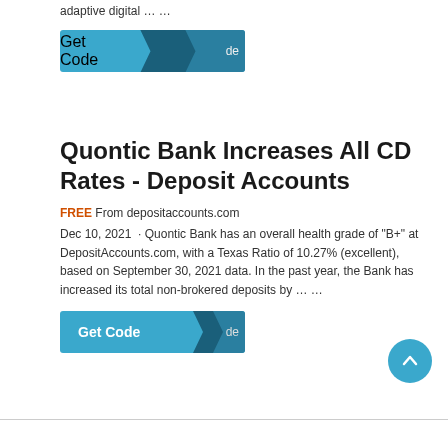adaptive digital … …
[Figure (other): Get Code button with dark arrow overlay at top of page]
Quontic Bank Increases All CD Rates - Deposit Accounts
FREE From depositaccounts.com
Dec 10, 2021 · Quontic Bank has an overall health grade of "B+" at DepositAccounts.com, with a Texas Ratio of 10.27% (excellent), based on September 30, 2021 data. In the past year, the Bank has increased its total non-brokered deposits by … …
[Figure (other): Get Code button with dark arrow overlay]